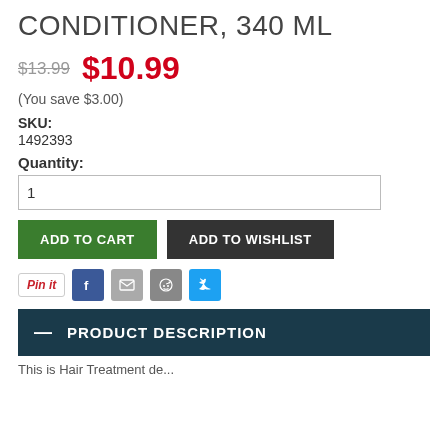CONDITIONER, 340 ML
$13.99  $10.99
(You save $3.00)
SKU:
1492393
Quantity:
ADD TO CART   ADD TO WISHLIST
Pin it  [Facebook] [Email] [Reddit] [Twitter]
— PRODUCT DESCRIPTION
This is Hair Treatment de...